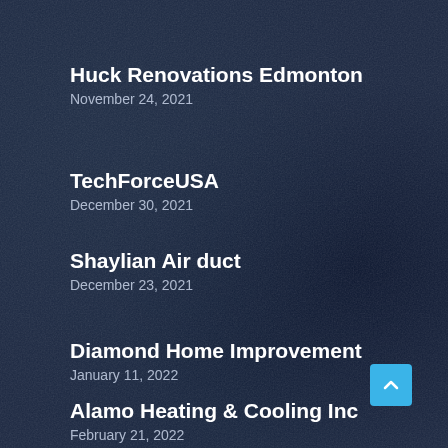Huck Renovations Edmonton
November 24, 2021
TechForceUSA
December 30, 2021
Shaylian Air duct
December 23, 2021
Diamond Home Improvement
January 11, 2022
Alamo Heating & Cooling Inc
February 21, 2022